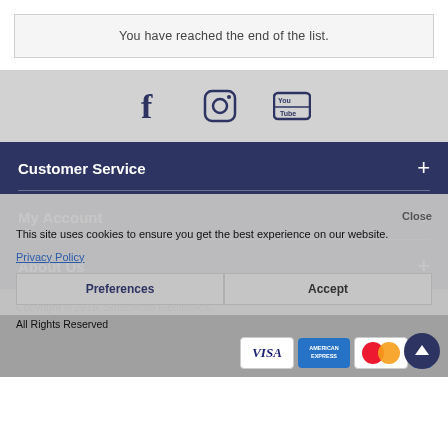You have reached the end of the list.
[Figure (illustration): Social media icons: Facebook, Instagram, YouTube]
Customer Service
My Account
About Us
This site uses cookies to ensure you get the best experience on our website.
Privacy Policy
Preferences
Accept
Copyright © 2018, SmartMoto Electronics, All Rights Reserved